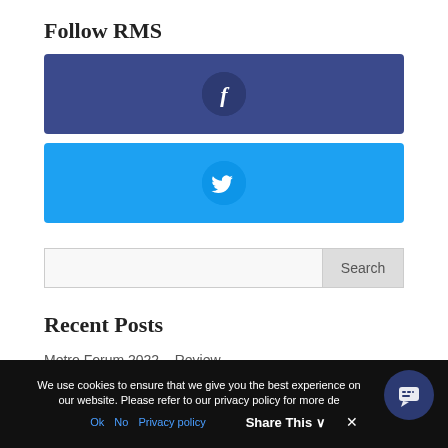Follow RMS
[Figure (illustration): Facebook social media button — dark blue/indigo rounded rectangle with a circular Facebook 'f' icon in the center]
[Figure (illustration): Twitter social media button — bright blue rounded rectangle with a circular Twitter bird icon in the center]
[Figure (illustration): Search bar with text input field and a Search button on the right]
Recent Posts
Metro Forum 2022 – Review
Engaging and Motivating Employees
We use cookies to ensure that we give you the best experience on our website. Please refer to our privacy policy for more details.
Ok  No  Privacy policy     Share This ∨     ×